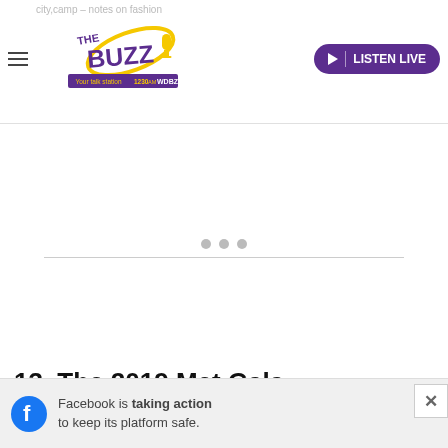city.camp – notes on fashion
[Figure (logo): The Buzz WDBZ 1230am radio station logo with microphone graphic]
LISTEN LIVE
[Figure (infographic): Advertisement placeholder area with three grey dots and a horizontal divider line]
13. The 2019 Met Gala Celebration Sure Never S
Facebook is taking action to keep its platform safe.